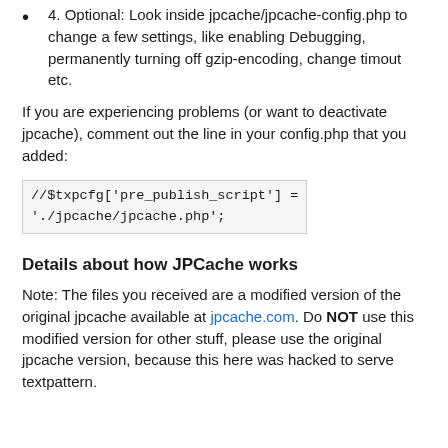4. Optional: Look inside jpcache/jpcache-config.php to change a few settings, like enabling Debugging, permanently turning off gzip-encoding, change timout etc.
If you are experiencing problems (or want to deactivate jpcache), comment out the line in your config.php that you added:
//$txpcfg['pre_publish_script'] = './jpcache/jpcache.php';
Details about how JPCache works
Note: The files you received are a modified version of the original jpcache available at jpcache.com. Do NOT use this modified version for other stuff, please use the original jpcache version, because this here was hacked to serve textpattern.